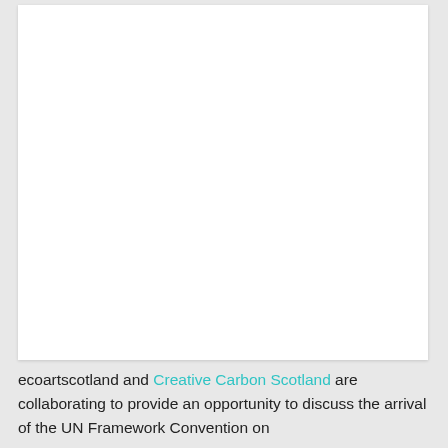[Figure (other): White blank rectangular card/image placeholder with light shadow on gray background]
ecoartscotland and Creative Carbon Scotland are collaborating to provide an opportunity to discuss the arrival of the UN Framework Convention on